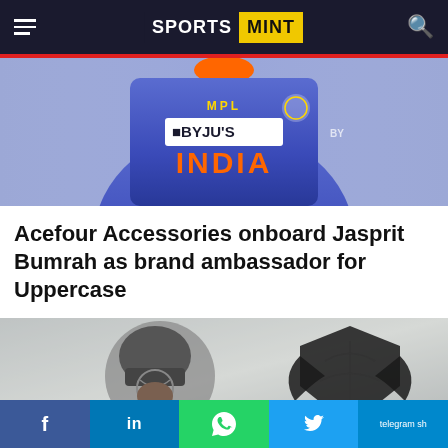SPORTS MINT
[Figure (photo): Indian cricket player wearing blue BCCI jersey with MPL and BYJU'S branding, INDIA text in orange, close-up torso shot]
Acefour Accessories onboard Jasprit Bumrah as brand ambassador for Uppercase
[Figure (photo): Cricket player wearing helmet with a dark logo (stylized eagle/bird crest) overlaid on right side, foggy/misty background]
f  in  (whatsapp)  (twitter)  telegram sh